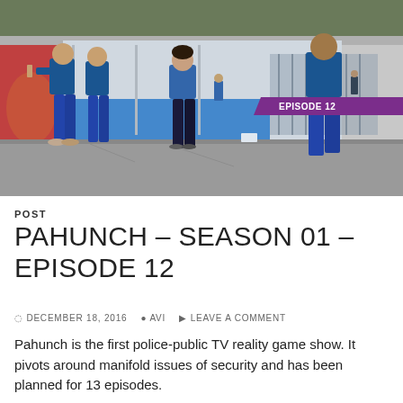[Figure (photo): Outdoor scene showing people in blue shirts and jeans standing in what appears to be a prison or institutional courtyard. A woman in a blue top and dark jeans stands in the center. An 'EPISODE 12' badge overlays the top-right area of the image.]
POST
PAHUNCH – SEASON 01 – EPISODE 12
DECEMBER 18, 2016  AVI  LEAVE A COMMENT
Pahunch is the first police-public TV reality game show. It pivots around manifold issues of security and has been planned for 13 episodes.